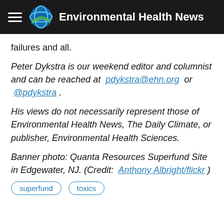Environmental Health News
failures and all.
Peter Dykstra is our weekend editor and columnist and can be reached at pdykstra@ehn.org or @pdykstra .
His views do not necessarily represent those of Environmental Health News, The Daily Climate, or publisher, Environmental Health Sciences.
Banner photo: Quanta Resources Superfund Site in Edgewater, NJ. (Credit: Anthony Albright/flickr )
superfund
toxics